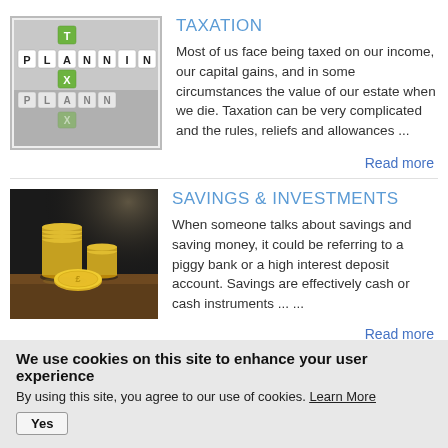[Figure (photo): Scrabble tiles spelling PLANNING and TAX crossword-style]
TAXATION
Most of us face being taxed on our income, our capital gains, and in some circumstances the value of our estate when we die. Taxation can be very complicated and the rules, reliefs and allowances ...
Read more
[Figure (photo): Stacked gold coins on a wooden table with dark background]
SAVINGS & INVESTMENTS
When someone talks about savings and saving money, it could be referring to a piggy bank or a high interest deposit account. Savings are effectively cash or cash instruments ... ...
Read more
We use cookies on this site to enhance your user experience
By using this site, you agree to our use of cookies. Learn More
Yes